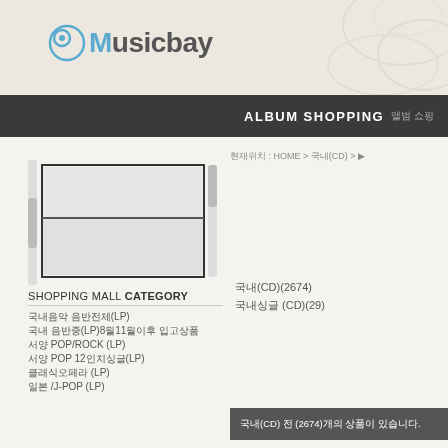Musicbay
ALBUM SHOPPING 앨범 쇼핑
현재위치 : HOME > 국내(CD) > ...
[Figure (screenshot): scrollable list UI element with two rows]
국내(CD)(2674)
국내싱글 (CD)(29)
SHOPPING MALL CATEGORY
국내음악 음반전체(LP)
국내 음반중(LP)8월11월이후 입고상품
서양 POP/ROCK (LP)
서양 POP 12인치싱글(LP)
클래식오페라 (LP)
일본 /J-POP (LP)
국내(CD) 전 (2674)개의 상품이 있습니다.